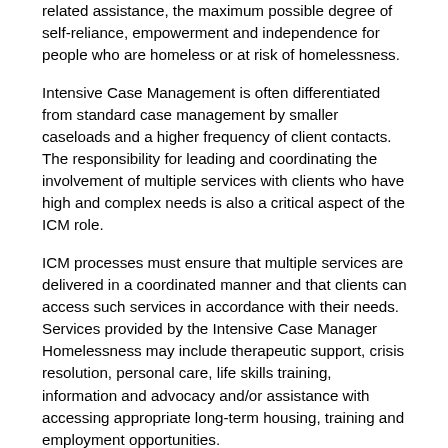related assistance, the maximum possible degree of self-reliance, empowerment and independence for people who are homeless or at risk of homelessness.
Intensive Case Management is often differentiated from standard case management by smaller caseloads and a higher frequency of client contacts. The responsibility for leading and coordinating the involvement of multiple services with clients who have high and complex needs is also a critical aspect of the ICM role.
ICM processes must ensure that multiple services are delivered in a coordinated manner and that clients can access such services in accordance with their needs. Services provided by the Intensive Case Manager Homelessness may include therapeutic support, crisis resolution, personal care, life skills training, information and advocacy and/or assistance with accessing appropriate long-term housing, training and employment opportunities.
The position will provide information and/or referrals to